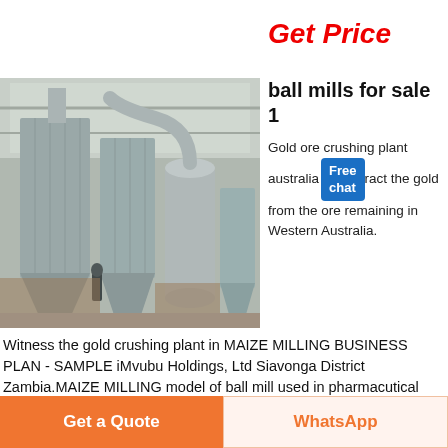Get Price
[Figure (photo): Industrial ball mill / grinding plant inside a warehouse, showing large grey dust collectors, hoppers, and a vertical mill machine with pipes and ducts. A worker figure is visible in the background.]
ball mills for sale 1
Gold ore crushing plant australiaextract the gold from the ore remaining in Western Australia.
Witness the gold crushing plant in MAIZE MILLING BUSINESS PLAN - SAMPLE iMvubu Holdings, Ltd Siavonga District Zambia.MAIZE MILLING model of ball mill used in pharmacutical industries, model of ball mill
Get a Quote
WhatsApp